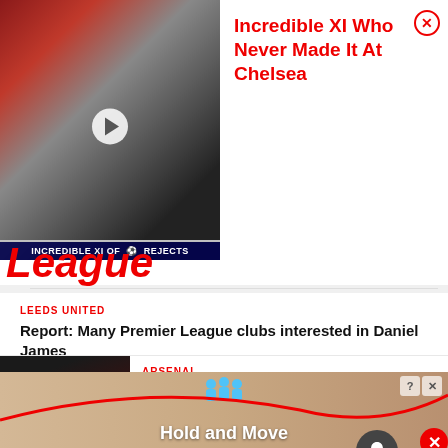[Figure (screenshot): Video thumbnail showing football players with text 'INCREDIBLE XI Of CHELSEA REJECTS']
Incredible XI Who Never Made It At Chelsea
League
LEEDS UNITED
Report: Many Premier League clubs interested in Daniel James
[Figure (photo): Photo of Willian in Arsenal red kit looking up]
ARSENAL
Fabrizio Romano says Willian is joining Fulham, a year after Arsenal released him
[Figure (photo): Photo partially visible - Everton related]
EVERTON
Jack Grealish and £60...
[Figure (screenshot): Bottom advertisement banner showing figures and text 'Hold and Move']